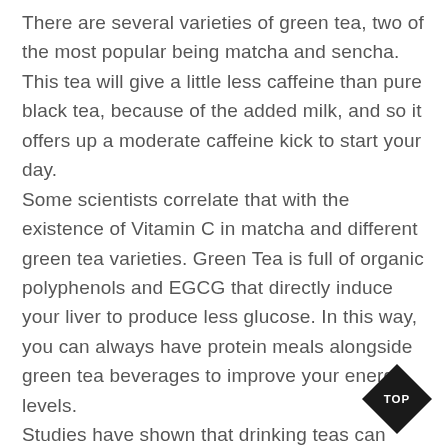There are several varieties of green tea, two of the most popular being matcha and sencha. This tea will give a little less caffeine than pure black tea, because of the added milk, and so it offers up a moderate caffeine kick to start your day. Some scientists correlate that with the existence of Vitamin C in matcha and different green tea varieties. Green Tea is full of organic polyphenols and EGCG that directly induce your liver to produce less glucose. In this way, you can always have protein meals alongside green tea beverages to improve your energy levels. Studies have shown that drinking teas can also make you fall asleep easier, provided you respect the right dosage each time. The thought of you or a loved one being diagnosed with Alzheimer's disease is frightening. It's important to know the early warning signs and
[Figure (other): Black diamond-shaped badge with white text reading 'TOP']